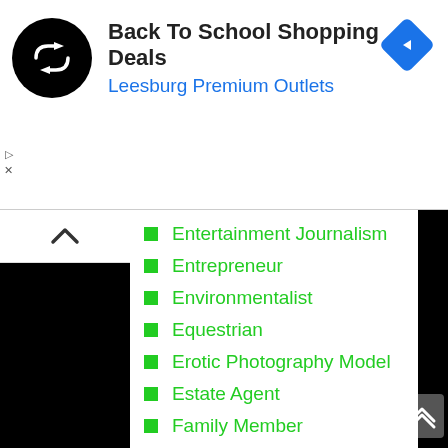[Figure (screenshot): Advertisement banner for Back To School Shopping Deals at Leesburg Premium Outlets, with a black circular logo with white arrows, and a blue diamond navigation icon.]
Entertainment Journalism
Entrepreneur
Environmentalist
Equestrian
Erotic Photography Model
Estate Agent
Family Member
Fashion Designer
Fashion Editor
Fashion Model
Female Singer